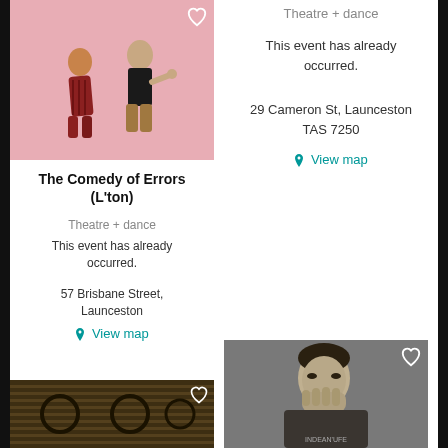[Figure (photo): Two performers dancing against a pink background]
The Comedy of Errors (L'ton)
Theatre + dance
This event has already occurred.
57 Brisbane Street, Launceston
View map
[Figure (photo): Abstract dark pattern with circular motifs]
Theatre + dance
This event has already occurred.
29 Cameron St, Launceston TAS 7250
View map
[Figure (photo): Black and white photo of a man covering his mouth with his hand]